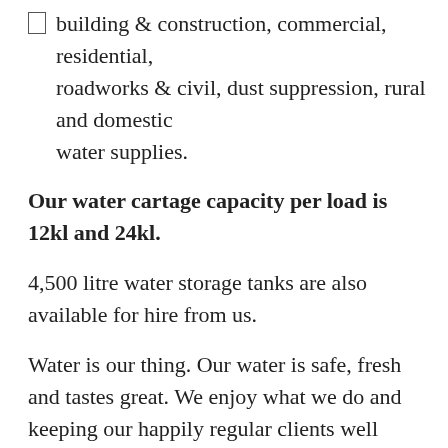building & construction, commercial, residential, roadworks & civil, dust suppression, rural and domestic water supplies.
Our water cartage capacity per load is 12kl and 24kl.
4,500 litre water storage tanks are also available for hire from us.
Water is our thing. Our water is safe, fresh and tastes great. We enjoy what we do and keeping our happily regular clients well supplied again and again is extremely rewarding to us.
No job is too big or small. If you need water delivered in the Busselton area, we are your one-stop-shop.
Our fantastic and simple ordering process allows for